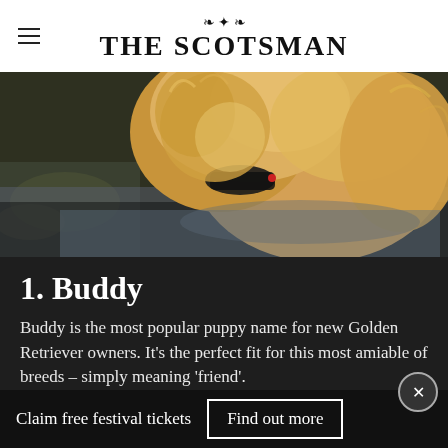THE SCOTSMAN
[Figure (photo): A Golden Retriever dog swimming in water, close-up of its fluffy golden/cream fur and face with a black collar, water visible around its chest]
1. Buddy
Buddy is the most popular puppy name for new Golden Retriever owners. It's the perfect fit for this most amiable of breeds – simply meaning 'friend'.
Photo: Canva/Getty Images
Claim free festival tickets  Find out more